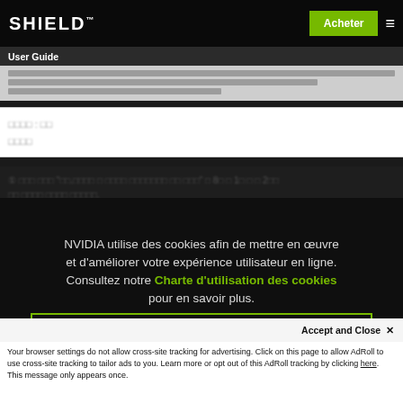SHIELD™
User Guide
[Korean text - blurred background content]
NVIDIA utilise des cookies afin de mettre en œuvre et d'améliorer votre expérience utilisateur en ligne. Consultez notre Charte d'utilisation des cookies pour en savoir plus.
Gérer mes cookies
Accept and Close ✕
Your browser settings do not allow cross-site tracking for advertising. Click on this page to allow AdRoll to use cross-site tracking to tailor ads to you. Learn more or opt out of this AdRoll tracking by clicking here. This message only appears once.